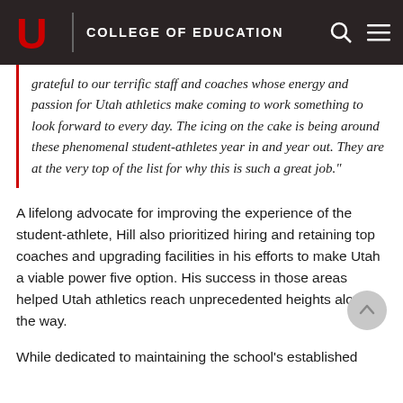COLLEGE OF EDUCATION
grateful to our terrific staff and coaches whose energy and passion for Utah athletics make coming to work something to look forward to every day. The icing on the cake is being around these phenomenal student-athletes year in and year out. They are at the very top of the list for why this is such a great job."
A lifelong advocate for improving the experience of the student-athlete, Hill also prioritized hiring and retaining top coaches and upgrading facilities in his efforts to make Utah a viable power five option. His success in those areas helped Utah athletics reach unprecedented heights along the way.
While dedicated to maintaining the school's established